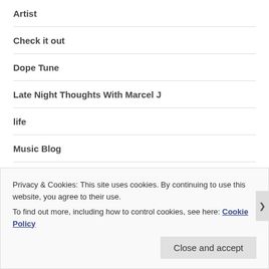Artist
Check it out
Dope Tune
Late Night Thoughts With Marcel J
life
Music Blog
New Artist
Privacy & Cookies: This site uses cookies. By continuing to use this website, you agree to their use. To find out more, including how to control cookies, see here: Cookie Policy
Close and accept